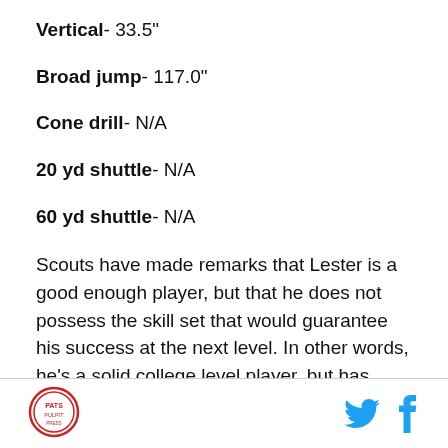Vertical- 33.5"
Broad jump- 117.0"
Cone drill- N/A
20 yd shuttle- N/A
60 yd shuttle- N/A
Scouts have made remarks that Lester is a good enough player, but that he does not possess the skill set that would guarantee his success at the next level. In other words, he's a solid college level player, but has done nothing to convince outsiders that he will be a
Logo and social media icons (Twitter, Facebook)